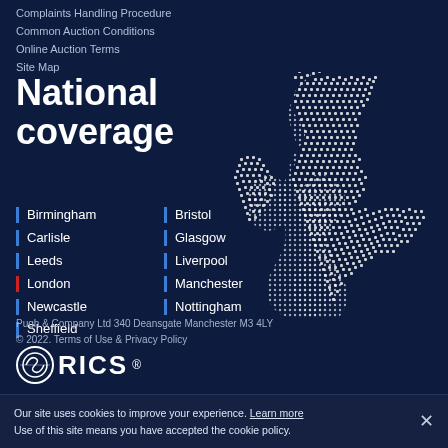Complaints Handling Procedure
Common Auction Conditions
Online Auction Terms
Site Map
National coverage
[Figure (map): Dotted map of the United Kingdom and Ireland rendered in white dots on dark blue background]
Birmingham
Bristol
Carlisle
Glasgow
Leeds
Liverpool
London
Manchester
Newcastle
Nottingham
Sheffield
Pugh & Company Ltd 340 Deansgate Manchester M3 4LY
© 2022. Terms of Use & Privacy Policy
[Figure (logo): RICS logo with circular emblem]
Our site uses cookies to improve your experience. Learn more
Use of this site means you have accepted the cookie policy.